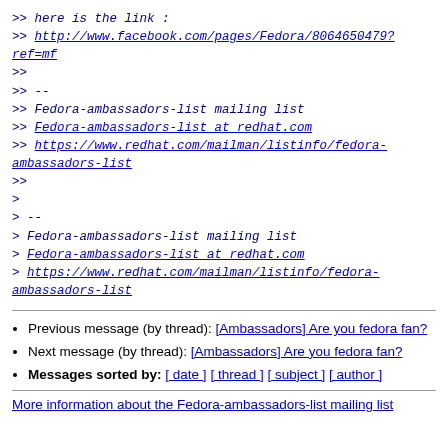>> here is the link :
>> http://www.facebook.com/pages/Fedora/8064650479?ref=mf
>>
>> --
>> Fedora-ambassadors-list mailing list
>> Fedora-ambassadors-list at redhat.com
>> https://www.redhat.com/mailman/listinfo/fedora-ambassadors-list
>>
>
> --
> Fedora-ambassadors-list mailing list
> Fedora-ambassadors-list at redhat.com
> https://www.redhat.com/mailman/listinfo/fedora-ambassadors-list
Previous message (by thread): [Ambassadors] Are you fedora fan?
Next message (by thread): [Ambassadors] Are you fedora fan?
Messages sorted by: [ date ] [ thread ] [ subject ] [ author ]
More information about the Fedora-ambassadors-list mailing list